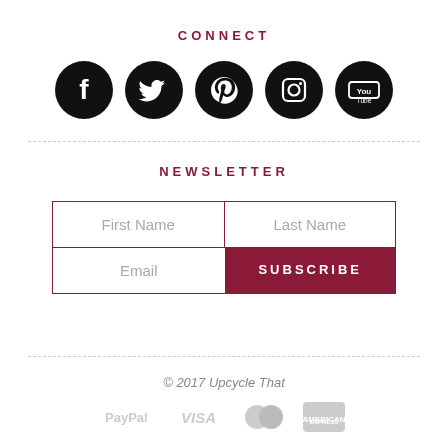CONNECT
[Figure (illustration): Five social media icons (Facebook, Twitter, Pinterest, Instagram, YouTube) as white symbols on black circles]
NEWSLETTER
[Figure (infographic): Newsletter signup form with First Name, Last Name, Email fields and a dark red SUBSCRIBE button]
© 2017 Upcycle That
[Figure (illustration): Payment method logos: PayPal, VISA, MasterCard, American Express — all in light grey]